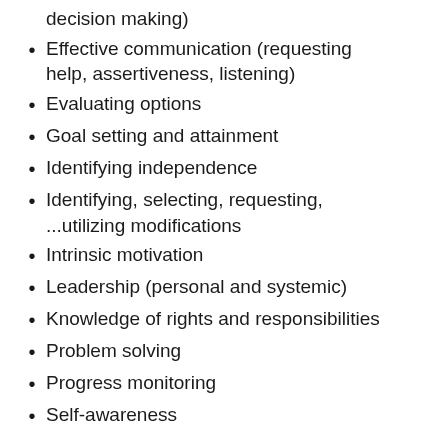decision making)
Effective communication (requesting help, assertiveness, listening)
Evaluating options
Goal setting and attainment
Identifying independence
Identifying, selecting, requesting, ...utilizing modifications
Intrinsic motivation
Leadership (personal and systemic)
Knowledge of rights and responsibilities
Problem solving
Progress monitoring
Self-awareness